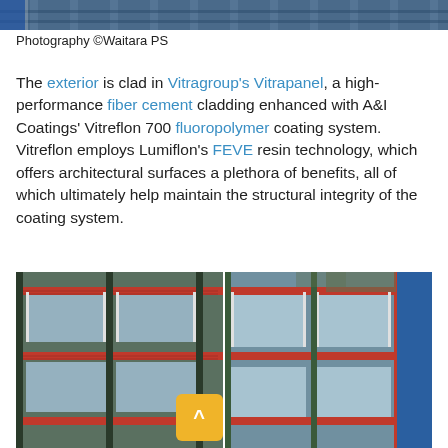[Figure (photo): Partial view of a building exterior clad in Vitrapanel fiber cement panels, visible at the top of the page.]
Photography ©Waitara PS
The exterior is clad in Vitragroup's Vitrapanel, a high-performance fiber cement cladding enhanced with A&I Coatings' Vitreflon 700 fluoropolymer coating system. Vitreflon employs Lumiflon's FEVE resin technology, which offers architectural surfaces a plethora of benefits, all of which ultimately help maintain the structural integrity of the coating system.
[Figure (photo): Two side-by-side photos of a school building exterior showing red and blue colored cladding panels and louvred sun shades with windows.]